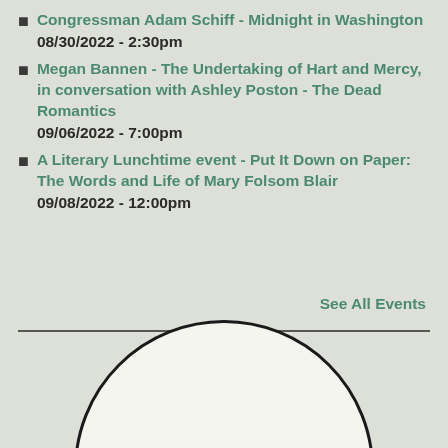Congressman Adam Schiff - Midnight in Washington
08/30/2022 - 2:30pm
Megan Bannen - The Undertaking of Hart and Mercy, in conversation with Ashley Poston - The Dead Romantics
09/06/2022 - 7:00pm
A Literary Lunchtime event - Put It Down on Paper: The Words and Life of Mary Folsom Blair
09/08/2022 - 12:00pm
See All Events
[Figure (logo): The Laydown Podcast with Gibson's Bookstore logo — circular emblem with black border, white/light background, bold text reading 'The Laydown Podcast' and italic text 'with Gibson's Bookstore']